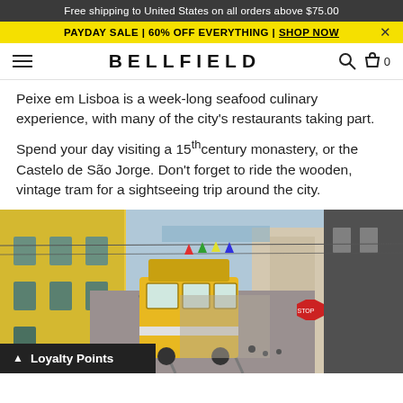Free shipping to United States on all orders above $75.00
PAYDAY SALE | 60% OFF EVERYTHING | SHOP NOW
BELLFIELD
Peixe em Lisboa is a week-long seafood culinary experience, with many of the city's restaurants taking part.
Spend your day visiting a 15th century monastery, or the Castelo de São Jorge. Don't forget to ride the wooden, vintage tram for a sightseeing trip around the city.
[Figure (photo): Street scene in Lisbon showing a yellow vintage tram riding down a narrow hilly street lined with colourful buildings, with the waterfront visible in the distance.]
Loyalty Points